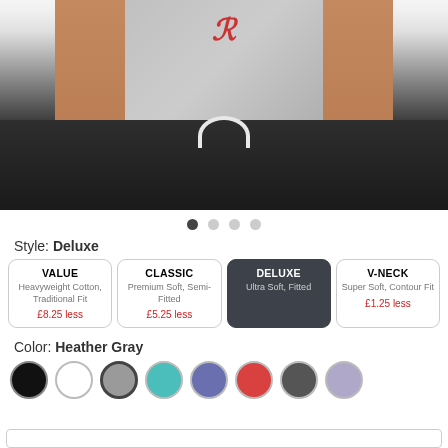[Figure (photo): Woman wearing a gray heather t-shirt with red script graphic, paired with dark/black drawstring shorts. Cropped to show torso only.]
Style: Deluxe
| VALUE | CLASSIC | DELUXE | V-NECK |
| --- | --- | --- | --- |
| Heavyweight Cotton, Traditional Fit | Premium Soft, Semi-Fitted | Ultra Soft, Fitted | Super Soft, Contour Fit |
| £8.25 less | £5.25 less |  | £1.25 less |
Color: Heather Gray
[Figure (infographic): Color swatches: black, white, heather gray (selected), teal, blue/indigo, red, dark gray, lavender]